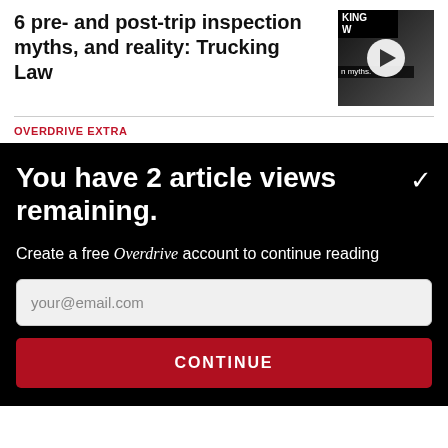6 pre- and post-trip inspection myths, and reality: Trucking Law
[Figure (screenshot): Video thumbnail showing trucking/tire content with play button overlay, labeled 'KING W' and 'n myths.']
OVERDRIVE EXTRA
You have 2 article views remaining.
Create a free Overdrive account to continue reading
your@email.com
CONTINUE